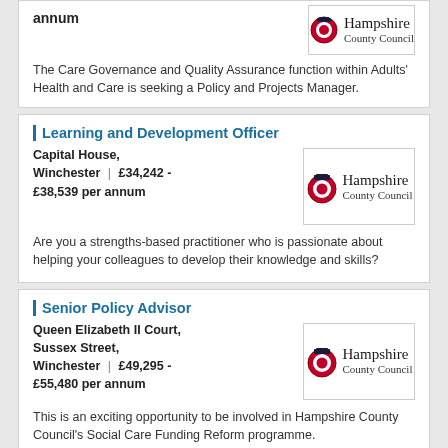per annum
The Care Governance and Quality Assurance function within Adults' Health and Care is seeking a Policy and Projects Manager.
Learning and Development Officer
Capital House, Winchester | £34,242 - £38,539 per annum
[Figure (logo): Hampshire County Council logo]
Are you a strengths-based practitioner who is passionate about helping your colleagues to develop their knowledge and skills?
Senior Policy Advisor
Queen Elizabeth II Court, Sussex Street, Winchester | £49,295 - £55,480 per annum
[Figure (logo): Hampshire County Council logo]
This is an exciting opportunity to be involved in Hampshire County Council's Social Care Funding Reform programme.
Chef Manager
Ticehurst Care Home,